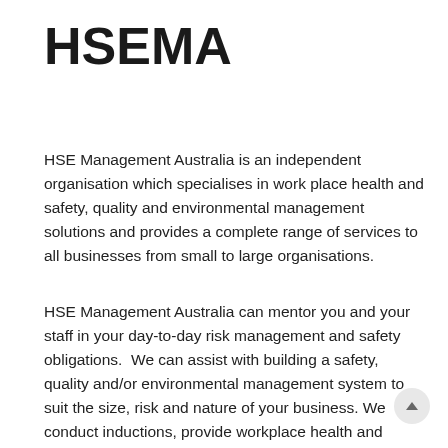HSEMA
HSE Management Australia is an independent organisation which specialises in work place health and safety, quality and environmental management solutions and provides a complete range of services to all businesses from small to large organisations.
HSE Management Australia can mentor you and your staff in your day-to-day risk management and safety obligations.  We can assist with building a safety, quality and/or environmental management system to suit the size, risk and nature of your business. We conduct inductions, provide workplace health and safety committee training, perform and train in ergonomic and workstation assessments, carry out workplace/site inspections and audits.  We can assist with redeveloping policies and documents to improve what you already have in place.
We offer services in occupational hygiene, including workplace monitoring, professional advice on hazards workers may be